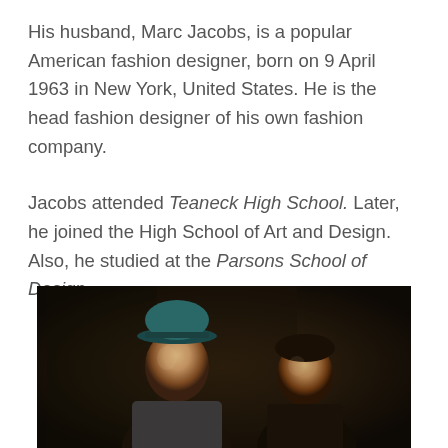His husband, Marc Jacobs, is a popular American fashion designer, born on 9 April 1963 in New York, United States. He is the head fashion designer of his own fashion company.
Jacobs attended Teaneck High School. Later, he joined the High School of Art and Design. Also, he studied at the Parsons School of Design.
[Figure (photo): A photograph showing two men standing together in what appears to be a dark indoor setting. The man on the left is wearing a teal/dark green baseball cap. Both men are facing the camera.]